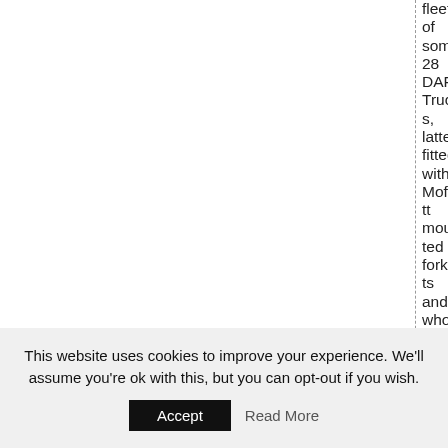fleet of some 28 DAF Trucks, latter fitted with Moffett mounted forklifts and who are presently storing the Germ
This website uses cookies to improve your experience. We'll assume you're ok with this, but you can opt-out if you wish. Accept Read More